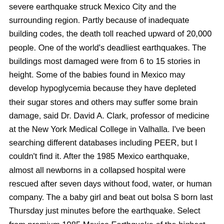severe earthquake struck Mexico City and the surrounding region. Partly because of inadequate building codes, the death toll reached upward of 20,000 people. One of the world's deadliest earthquakes. The buildings most damaged were from 6 to 15 stories in height. Some of the babies found in Mexico may develop hypoglycemia because they have depleted their sugar stores and others may suffer some brain damage, said Dr. David A. Clark, professor of medicine at the New York Medical College in Valhalla. I've been searching different databases including PEER, but I couldn't find it. After the 1985 Mexico earthquake, almost all newborns in a collapsed hospital were rescued after seven days without food, water, or human company. The a baby girl and beat out bolsa S born last Thursday just minutes before the earthquake. Select from premium 1985 Mexico Earthquake of the highest quality. On Thursday, September 19, 1985, at 7:19 AM local time, Mexico